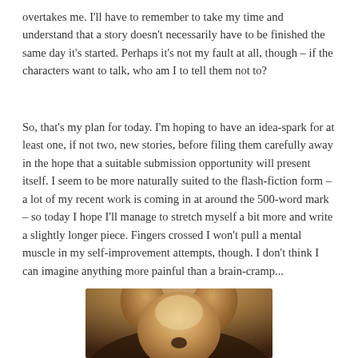overtakes me. I'll have to remember to take my time and understand that a story doesn't necessarily have to be finished the same day it's started. Perhaps it's not my fault at all, though – if the characters want to talk, who am I to tell them not to?
So, that's my plan for today. I'm hoping to have an idea-spark for at least one, if not two, new stories, before filing them carefully away in the hope that a suitable submission opportunity will present itself. I seem to be more naturally suited to the flash-fiction form – a lot of my recent work is coming in at around the 500-word mark – so today I hope I'll manage to stretch myself a bit more and write a slightly longer piece. Fingers crossed I won't pull a mental muscle in my self-improvement attempts, though. I don't think I can imagine anything more painful than a brain-cramp...
[Figure (photo): Partial view of a golden/light brown furry animal (likely a dog or cat), showing the top of its head from above]